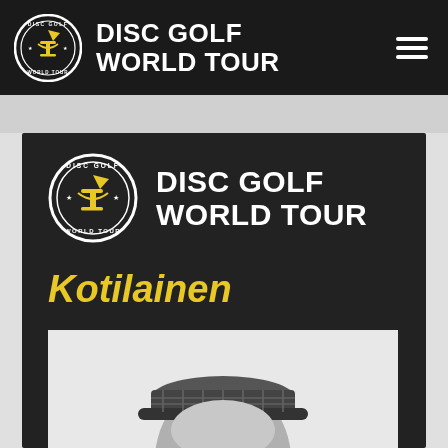DISC GOLF WORLD TOUR
[Figure (logo): Disc Golf World Tour circular logo with basket icon, top navigation bar]
[Figure (logo): Disc Golf World Tour circular logo with basket icon, inside main dark content area]
DISC GOLF WORLD TOUR
Kotilainen
[Figure (photo): Black and white photo of a person wearing a plaid/checkered visor/cap, partially visible from top of frame]